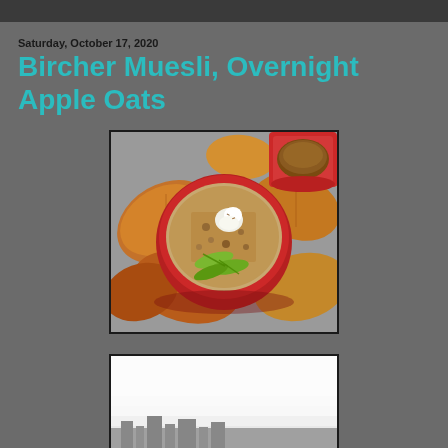Saturday, October 17, 2020
Bircher Muesli, Overnight Apple Oats
[Figure (photo): Top-down view of a red bowl filled with muesli/oats topped with sliced green apple and a dollop of cream, surrounded by autumn leaves (orange, yellow, brown) on a grey surface, with a red coffee cup in the upper right corner.]
[Figure (photo): A misty/foggy landscape photo, partially visible, showing what appears to be a city or buildings in the lower portion against a pale grey sky.]